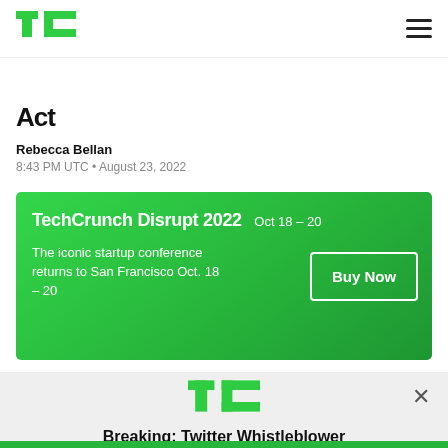TechCrunch
Act
Rebecca Bellan
8:43 PM UTC • August 23, 2022
[Figure (infographic): TechCrunch Disrupt 2022 advertisement banner. Green gradient background. Text: TechCrunch Disrupt 2022 Oct 18-20. The iconic startup conference returns to San Francisco Oct. 18-20. Button: Buy Now.]
[Figure (logo): TechCrunch TC logo in green]
Breaking: Twitter Whistleblower
READ NOW